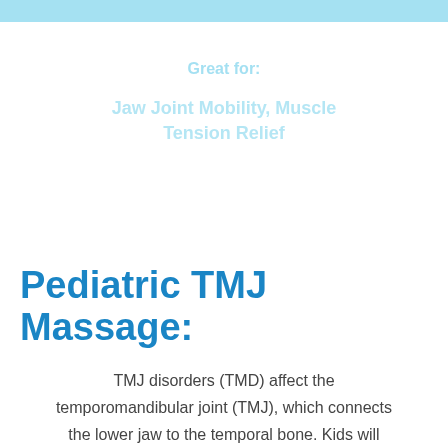[Figure (other): Light blue decorative top bar banner]
Great for:
Jaw Joint Mobility, Muscle Tension Relief
Pediatric TMJ Massage:
TMJ disorders (TMD) affect the temporomandibular joint (TMJ), which connects the lower jaw to the temporal bone. Kids will experience TMJ pain due to joint muscle stress...